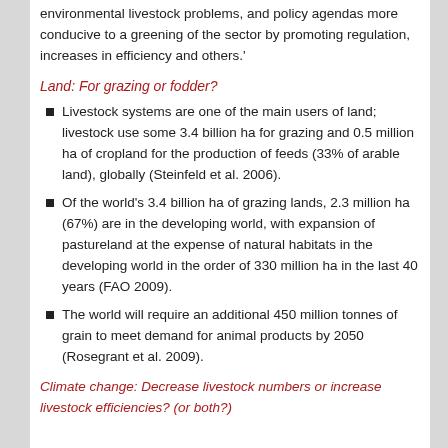environmental livestock problems, and policy agendas more conducive to a greening of the sector by promoting regulation, increases in efficiency and others.'
Land: For grazing or fodder?
Livestock systems are one of the main users of land; livestock use some 3.4 billion ha for grazing and 0.5 million ha of cropland for the production of feeds (33% of arable land), globally (Steinfeld et al. 2006).
Of the world's 3.4 billion ha of grazing lands, 2.3 million ha (67%) are in the developing world, with expansion of pastureland at the expense of natural habitats in the developing world in the order of 330 million ha in the last 40 years (FAO 2009).
The world will require an additional 450 million tonnes of grain to meet demand for animal products by 2050 (Rosegrant et al. 2009).
Climate change: Decrease livestock numbers or increase livestock efficiencies? (or both?)